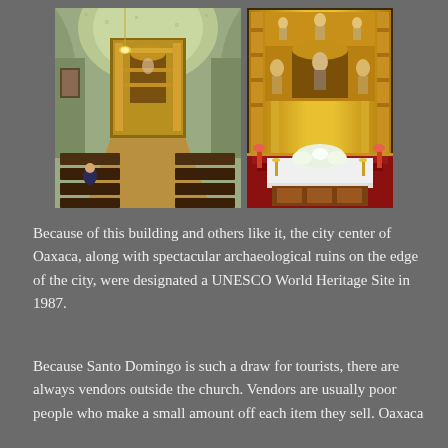[Figure (photo): Two side-by-side photos of the interior of Santo Domingo church in Oaxaca, Mexico. Left photo shows the nave with wooden pews, golden baroque altar at the far end, and ornate gold-decorated vaulted ceiling. Right photo shows a close-up of the elaborate gilded baroque altar/retablo with red carpet, white flower arrangements on the altar table.]
Because of this building and others like it, the city center of Oaxaca, along with spectacular archaeological ruins on the edge of the city, were designated a UNESCO World Heritage Site in 1987.
Because Santo Domingo is such a draw for tourists, there are always vendors outside the church. Vendors are usually poor people who make a small amount off each item they sell. Oaxaca